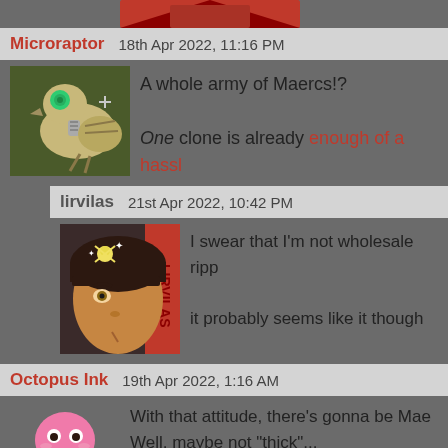[Figure (illustration): Partial view of a red-toned avatar at the top of the page, cropped.]
Microraptor   18th Apr 2022, 11:16 PM
[Figure (illustration): Avatar of Microraptor: a mechanical bird-like creature with a green eye on a dark green background.]
A whole army of Maercs!?
One clone is already enough of a hassl
lirvilas   21st Apr 2022, 10:42 PM
[Figure (illustration): Avatar of lirvilas: a stylized illustration of a person with dark hair and pirate skull accessory.]
I swear that I'm not wholesale ripp
it probably seems like it though
Octopus Ink   19th Apr 2022, 1:16 AM
[Figure (illustration): Avatar of Octopus Ink: a pink cartoon octopus character, partially visible.]
With that attitude, there's gonna be Mae
Well, maybe not "thick"...